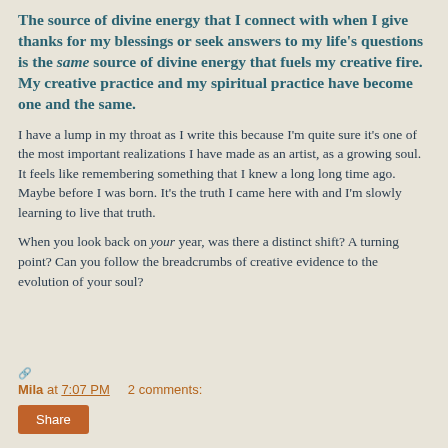The source of divine energy that I connect with when I give thanks for my blessings or seek answers to my life's questions is the same source of divine energy that fuels my creative fire. My creative practice and my spiritual practice have become one and the same.
I have a lump in my throat as I write this because I'm quite sure it's one of the most important realizations I have made as an artist, as a growing soul. It feels like remembering something that I knew a long long time ago. Maybe before I was born. It's the truth I came here with and I'm slowly learning to live that truth.
When you look back on your year, was there a distinct shift? A turning point? Can you follow the breadcrumbs of creative evidence to the evolution of your soul?
Mila at 7:07 PM    2 comments: